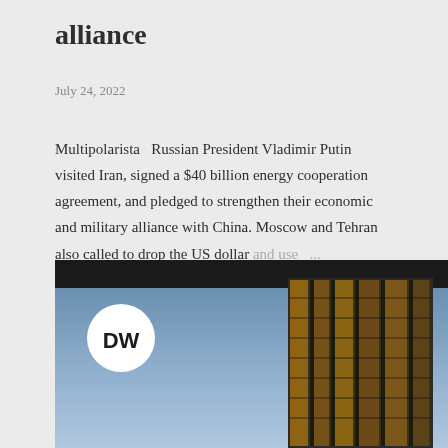alliance
July 24, 2022
Multipolarista   Russian President Vladimir Putin visited Iran, signed a $40 billion energy cooperation agreement, and pledged to strengthen their economic and military alliance with China. Moscow and Tehran also called to drop the US dollar and use ...
SHARE   POST A COMMENT   READ MORE
[Figure (photo): DW logo overlaid on a dark background with a glass skyscraper building at night, illuminated in gold/amber tones against a blue-grey sky]